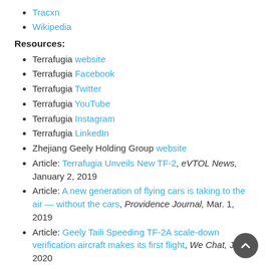Tracxn
Wikipedia
Resources:
Terrafugia website
Terrafugia Facebook
Terrafugia Twitter
Terrafugia YouTube
Terrafugia Instagram
Terrafugia LinkedIn
Zhejiang Geely Holding Group website
Article: Terrafugia Unveils New TF-2, eVTOL News, January 2, 2019
Article: A new generation of flying cars is taking to the air — without the cars, Providence Journal, Mar. 1, 2019
Article: Geely Taili Speeding TF-2A scale-down verification aircraft makes its first flight, We Chat, Jan. 2020
Article: Geely Unveils Terrafugia TF-2A, eVTOL News, Jan. 9, 2020
Article: Geely's Terrafugia reveals new eVTOL for